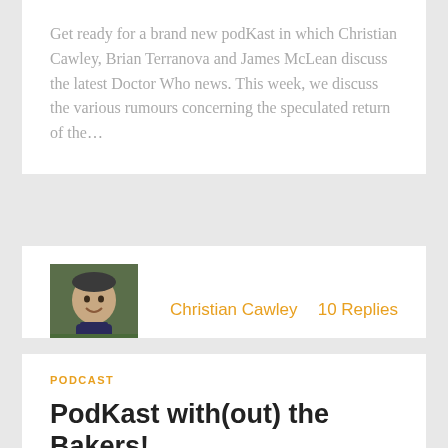Get ready for a brand new podKast in which Christian Cawley, Brian Terranova and James McLean discuss the latest Doctor Who news. This week, we discuss the various rumours concerning the speculated return of the…
[Figure (photo): Headshot photo of Christian Cawley, a man smiling outdoors with greenery in the background]
Christian Cawley
10 Replies
PODCAST
PodKast with(out) the Bakers!
November 17, 2012
Tomorrow, Eric Saward, Mark of the Rani, Mel...